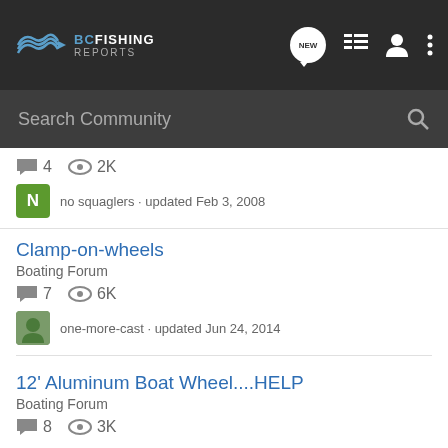BC Fishing Reports - Search Community
4 comments · 2K views · no squaglers · updated Feb 3, 2008
Clamp-on-wheels
Boating Forum
7 comments · 6K views · one-more-cast · updated Jun 24, 2014
12' Aluminum Boat Wheel....HELP
Boating Forum
8 comments · 3K views